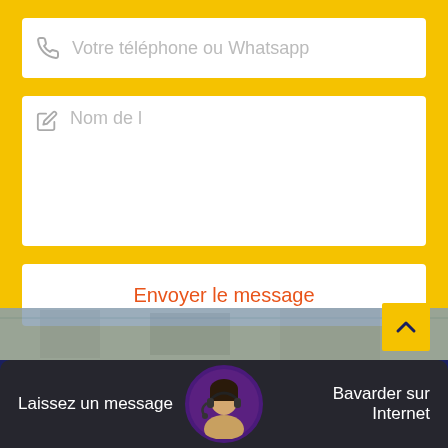[Figure (screenshot): Web contact form on yellow background with phone/whatsapp input field, a message text area, and a send button labeled 'Envoyer le message' in orange. Below the form is a dark navy section with a scroll-to-top button (yellow, chevron up). At the bottom is a chat bar with 'Laissez un message' on the left, a customer service agent avatar in the center, and 'Bavarder sur Internet' on the right.]